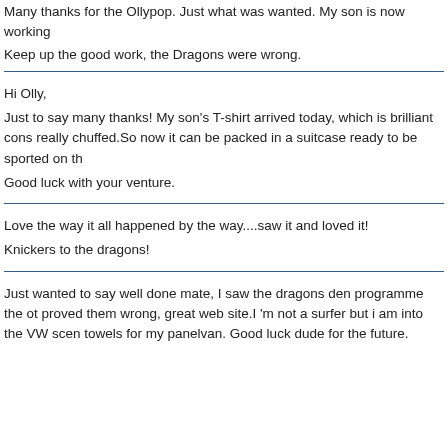Many thanks for the Ollypop.  Just what was wanted.  My son is now working
Keep up the good work, the Dragons were wrong.
Hi Olly,
Just to say many thanks! My son's T-shirt arrived today, which is brilliant cons really chuffed.So now it can be packed in a suitcase ready to be sported on th
Good luck with your venture.
Love the way it all happened by the way....saw it and loved it!
Knickers to the dragons!
Just wanted to say well done mate, I saw the dragons den programme the ot proved them wrong, great web site.I 'm not a surfer but i am into the VW scen towels for my panelvan. Good luck dude for the future.